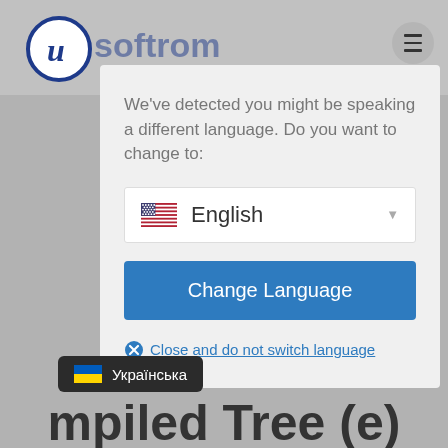[Figure (screenshot): Website screenshot showing a language switcher modal dialog over a partially visible webpage. The background shows a website logo (stylized 'u' in a circle with 'softrum' text), a hamburger menu button, and partial body text. A modal overlay prompts the user to change language, with an English (US flag) dropdown, a 'Change Language' button, and a 'Close and do not switch language' link. A Ukrainian language tooltip is visible at the bottom left, and a partial page title 'mpiled Tree (e)' is visible at the bottom.]
We've detected you might be speaking a different language. Do you want to change to:
English
Change Language
Close and do not switch language
Available when editing a compiled Tree this buttons will send you to the top of the tree hierarchy. Shortcut : escape key.
Українська
mpiled Tree (e)